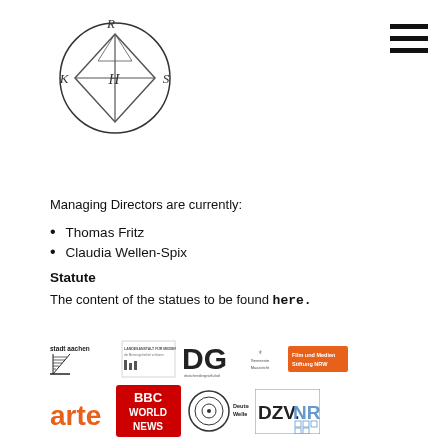[Figure (logo): KRHS circular logo with compass-like design, letters K R H S inside a circle with diamond shape]
[Figure (other): Hamburger menu icon (three horizontal lines) in top right corner]
Managing Directors are currently:
Thomas Fritz
Claudia Wellen-Spix
Statute
The content of the statues to be found here.
[Figure (logo): Sponsor logos row 1: Stadt Aachen, Landesanstalt für Medien NRW, DG Deutschmediengesellschaft, Gemeente Maastricht, Film und Medien Stiftung NRW]
[Figure (logo): Sponsor logos row 2: arte, BBC World News, Deutsche Welle, DZV.NRW]